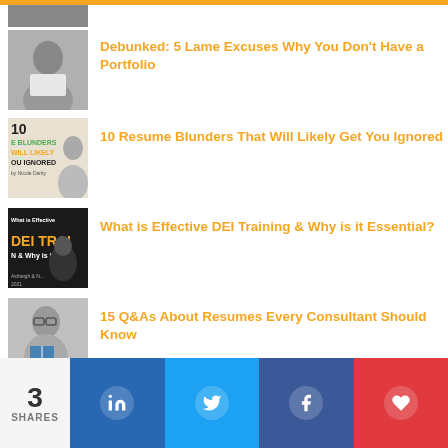[Figure (photo): Partial thumbnail of an article image at the top, cropped]
Debunked: 5 Lame Excuses Why You Don't Have a Portfolio
[Figure (photo): Black and white photo of a woman holding a blank sign]
10 Resume Blunders That Will Likely Get You Ignored
[Figure (photo): Thumbnail with text '10 BLUNDERS WILL LIKELY YOU IGNORED' in black/white with colored lettering]
What is Effective DEI Training & Why is it Essential?
[Figure (photo): Dark thumbnail with 'DEI TRAINING' text overlay]
15 Q&As About Resumes Every Consultant Should Know
[Figure (photo): Black and white photo of a smiling woman with glasses holding a book]
3 SHARES
[Figure (infographic): Social share buttons: LinkedIn, Twitter, Facebook, Heart/Love]